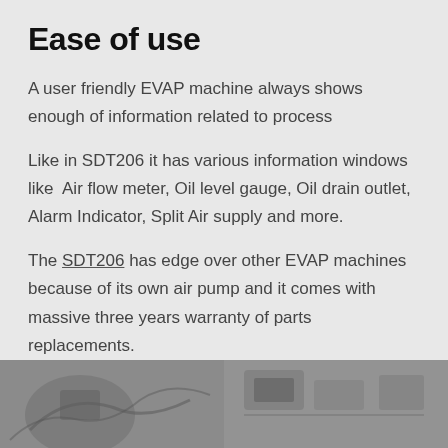Ease of use
A user friendly EVAP machine always shows enough of information related to process
Like in SDT206 it has various information windows like  Air flow meter, Oil level gauge, Oil drain outlet, Alarm Indicator, Split Air supply and more.
The SDT206 has edge over other EVAP machines because of its own air pump and it comes with massive three years warranty of parts replacements.
[Figure (photo): Two black and white photos side by side at the bottom of the page showing equipment/machinery details]